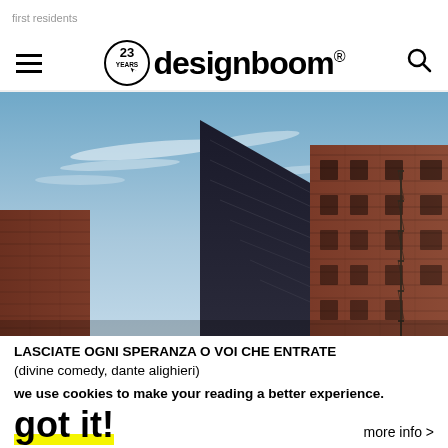first residents
[Figure (screenshot): Designboom website navigation bar with hamburger menu, 23 years logo, designboom wordmark with registered trademark, and search icon]
[Figure (photo): Upward angle photograph of urban buildings including a brick building with fire escape on the right and a dark modern building in the center, against a blue sky with light clouds]
LASCIATE OGNI SPERANZA O VOI CHE ENTRATE
(divine comedy, dante alighieri)
we use cookies to make your reading a better experience.
got it!
more info >